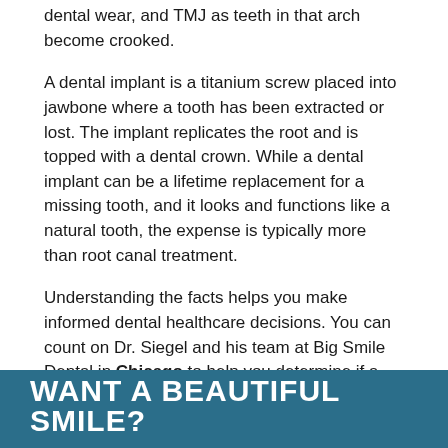dental wear, and TMJ as teeth in that arch become crooked.
A dental implant is a titanium screw placed into jawbone where a tooth has been extracted or lost. The implant replicates the root and is topped with a dental crown. While a dental implant can be a lifetime replacement for a missing tooth, and it looks and functions like a natural tooth, the expense is typically more than root canal treatment.
Understanding the facts helps you make informed dental healthcare decisions. You can count on Dr. Siegel and his team at Big Smile Dental in Chicago to help you determine if a root canal is your best treatment choice. Call 773-772-8400 to schedule an appointment or consultation.
WANT A BEAUTIFUL SMILE?